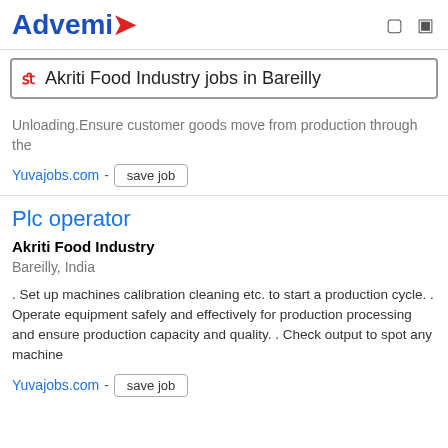Advemix — Akriti Food Industry jobs in Bareilly
Unloading.Ensure customer goods move from production through the
Yuvajobs.com - save job
Plc operator
Akriti Food Industry
Bareilly, India
. Set up machines calibration cleaning etc. to start a production cycle. . Operate equipment safely and effectively for production processing and ensure production capacity and quality. . Check output to spot any machine
Yuvajobs.com - save job